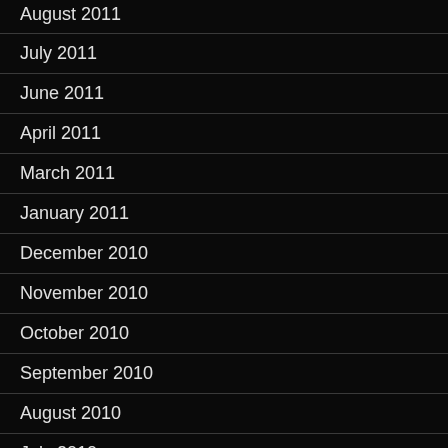August 2011
July 2011
June 2011
April 2011
March 2011
January 2011
December 2010
November 2010
October 2010
September 2010
August 2010
July 2010
June 2010